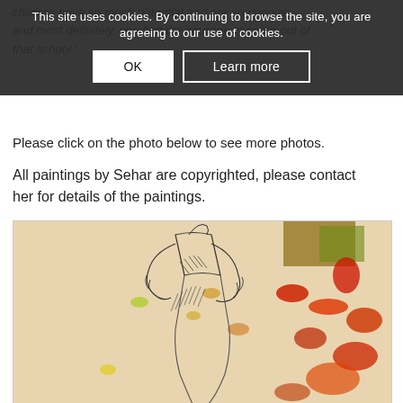children have so much potential and are so curious and most definitely, you find the courage to come out of that school.'
This site uses cookies. By continuing to browse the site, you are agreeing to our use of cookies.
OK
Learn more
Please click on the photo below to see more photos.
All paintings by Sehar are copyrighted, please contact her for details of the paintings.
[Figure (illustration): A mixed-media artwork showing a figure sketch in pencil with gestural lines suggesting a human torso and hands near the face, overlaid with red/orange abstract paint splatters and geometric shapes on a cream/beige background.]